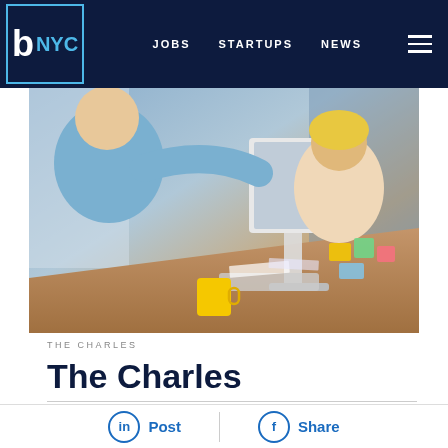b NYC  JOBS  STARTUPS  NEWS
[Figure (photo): Two people leaning over a desk collaborating at a computer monitor with a yellow coffee mug in the foreground and colorful sticky notes in the background]
THE CHARLES
The Charles
What they do: Located in the heart of SoHo, The Charles works with luxury and fashion brands to create elegant digital marketing and design solutions that appeal through
Post  Share